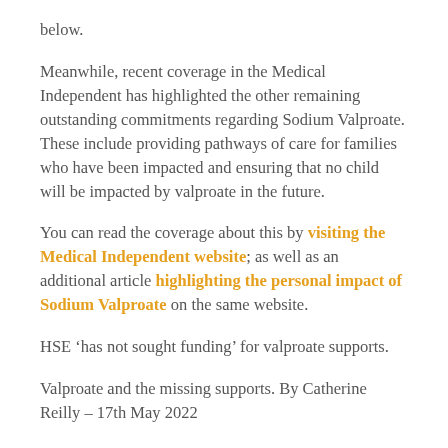below.
Meanwhile, recent coverage in the Medical Independent has highlighted the other remaining outstanding commitments regarding Sodium Valproate. These include providing pathways of care for families who have been impacted and ensuring that no child will be impacted by valproate in the future.
You can read the coverage about this by visiting the Medical Independent website; as well as an additional article highlighting the personal impact of Sodium Valproate on the same website.
HSE ‘has not sought funding’ for valproate supports.
Valproate and the missing supports. By Catherine Reilly – 17th May 2022
We would like to thank Deputy Doherty for raising this matter, and the Medical Independent for their continued